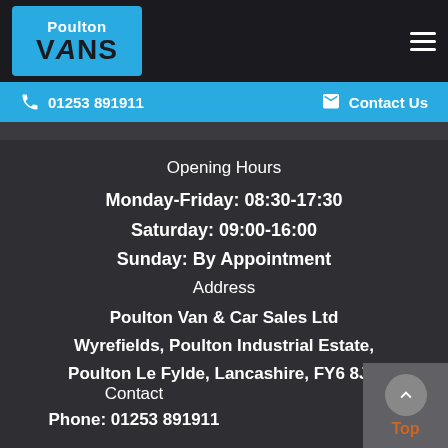Poulton VANS logo and navigation header
☎ 01253 891911   ✉ Contact Us
Opening Hours
Monday-Friday: 08:30-17:30
Saturday: 09:00-16:00
Sunday: By Appointment
Address
Poulton Van & Car Sales Ltd
Wyrefields, Poulton Industrial Estate,
Poulton Le Fylde, Lancashire, FY6 8JX
Contact
Phone: 01253 891911